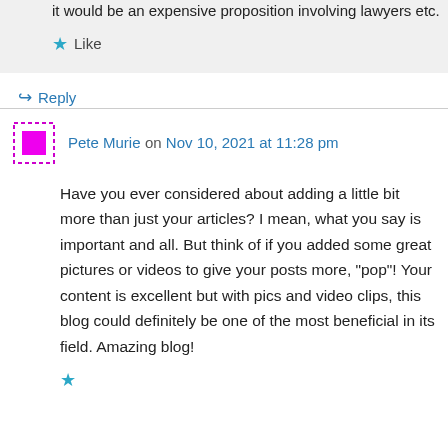it would be an expensive proposition involving lawyers etc.
Like
Reply
Pete Murie on Nov 10, 2021 at 11:28 pm
Have you ever considered about adding a little bit more than just your articles? I mean, what you say is important and all. But think of if you added some great pictures or videos to give your posts more, “pop”! Your content is excellent but with pics and video clips, this blog could definitely be one of the most beneficial in its field. Amazing blog!
Like